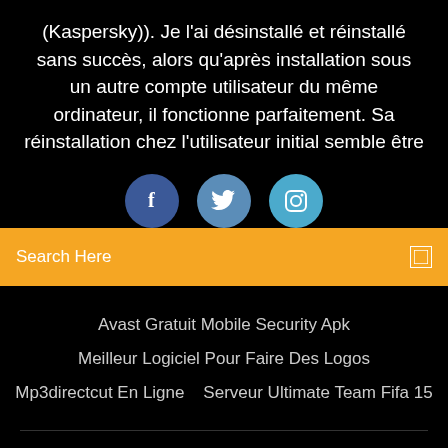(Kaspersky)). Je l'ai désinstallé et réinstallé sans succès, alors qu'après installation sous un autre compte utilisateur du même ordinateur, il fonctionne parfaitement. Sa réinstallation chez l'utilisateur initial semble être
[Figure (illustration): Three social media icons in circles: Facebook (dark blue), Twitter (medium blue), Instagram (light blue)]
Search Here
Avast Gratuit Mobile Security Apk
Meilleur Logiciel Pour Faire Des Logos
Mp3directcut En Ligne   Serveur Ultimate Team Fifa 15
Copyright ©2022 All rights reserved | This template is made with ♡ by Colorlib